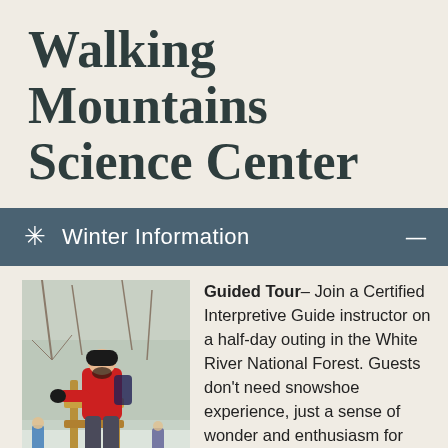Walking Mountains Science Center
❄ Winter Information
[Figure (photo): Person in red jacket and black hat on snowshoes climbing over a wooden fence rail in a snowy forest setting, with other people visible in the background.]
Guided Tour– Join a Certified Interpretive Guide instructor on a half-day outing in the White River National Forest. Guests don't need snowshoe experience, just a sense of wonder and enthusiasm for spending time in the winter environment! Hike and discuss local ecology while spending time among snow-capped peaks and silent winter forests. Ages 14+
$50/person, equipment & transportation provided. Visit the